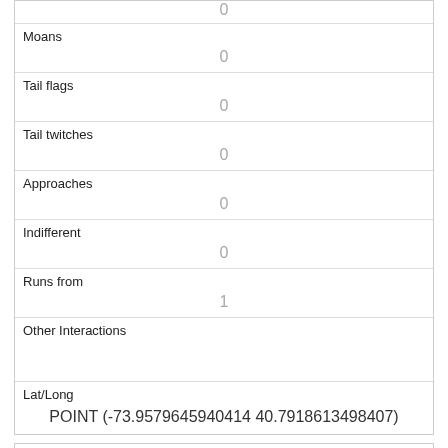| Field | Value |
| --- | --- |
|  | 0 |
| Moans | 0 |
| Tail flags | 0 |
| Tail twitches | 0 |
| Approaches | 0 |
| Indifferent | 0 |
| Runs from | 1 |
| Other Interactions |  |
| Lat/Long | POINT (-73.9579645940414 40.7918613498407) |
| Field | Value |
| --- | --- |
| Link | 46 |
| rowid |  |